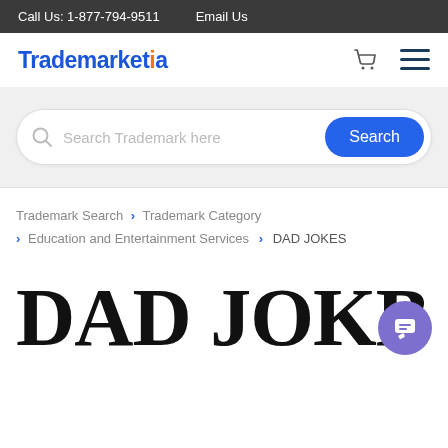Call Us: 1-877-794-9511   Email Us
[Figure (logo): Trademarkia logo with cart and hamburger menu icons]
Search Trademark here
Trademark Search > Trademark Category > Education and Entertainment Services > DAD JOKES
DAD JOKES